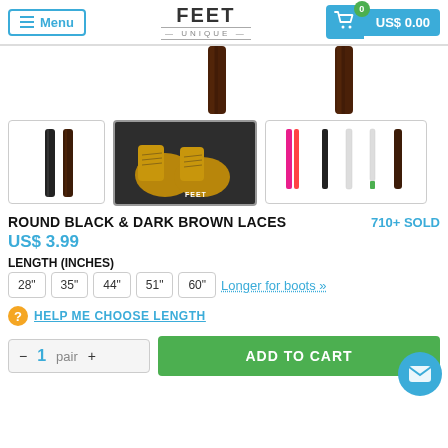Menu | FEET UNIQUE | US$ 0.00
[Figure (photo): Main product image showing two dark brown/black round laces hanging vertically, cropped at top]
[Figure (photo): Thumbnail 1: Two dark laces on white background]
[Figure (photo): Thumbnail 2: Tan/brown boots with FEET branding on dark background]
[Figure (photo): Thumbnail 3: Color comparison of laces - pink/red, dark, white/green options]
ROUND BLACK & DARK BROWN LACES
710+ SOLD
US$ 3.99
LENGTH (INCHES)
28"
35"
44"
51"
60"
Longer for boots »
HELP ME CHOOSE LENGTH
- 1 pair + ADD TO CART